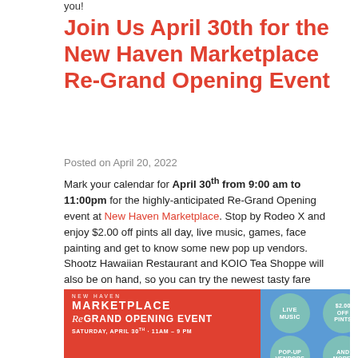you!
Join Us April 30th for the New Haven Marketplace Re-Grand Opening Event
Posted on April 20, 2022
Mark your calendar for April 30th from 9:00 am to 11:00pm for the highly-anticipated Re-Grand Opening event at New Haven Marketplace. Stop by Rodeo X and enjoy $2.00 off pints all day, live music, games, face painting and get to know some new pop up vendors. Shootz Hawaiian Restaurant and KOIO Tea Shoppe will also be on hand, so you can try the newest tasty fare offered at New Haven Marketplace. See you there!
[Figure (infographic): New Haven Marketplace Re-Grand Opening Event banner in red and blue with circles for Live Music, $2.00 Off Pints, Pop-Up Vendors, and And More! Event on Saturday April 30th 11am-9pm.]